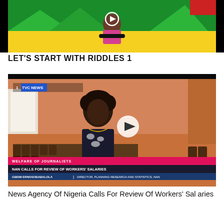[Figure (screenshot): Video thumbnail showing a person sitting cross-legged in a colorful green and yellow studio set with a play button overlay]
LET'S START WITH RIDDLES 1
[Figure (screenshot): TVC News video screenshot showing a woman being interviewed, with lower thirds reading 'WELFARE OF JOURNALISTS', 'NAN CALLS FOR REVIEW OF WORKERS' SALARIES', and 'GBEMI ERNOSOBABALOLA | DIRECTOR, PLANNING RESEARCH AND STATISTICS, NAN']
News Agency Of Nigeria Calls For Review Of Workers' Salaries